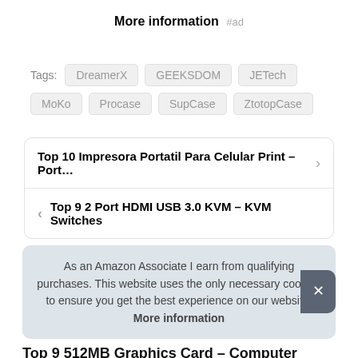More information #ad
Tags: DreamerX  GEEKSDOM  JETech  MoKo  Procase  SupCase  ZtotopCase
Top 10 Impresora Portatil Para Celular Print – Port…
Top 9 2 Port HDMI USB 3.0 KVM – KVM Switches
As an Amazon Associate I earn from qualifying purchases. This website uses the only necessary cookies to ensure you get the best experience on our website. More information
Top 9 512MB Graphics Card – Computer Graphics